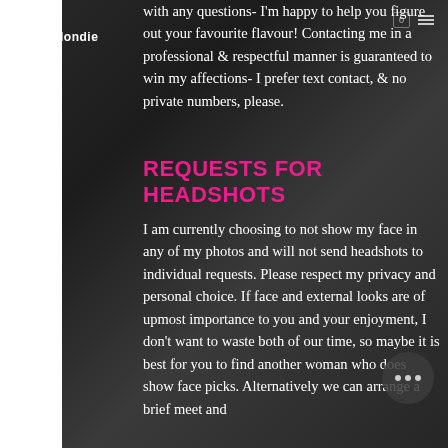porscheblondie
with any questions- I'm happy to help you figure out your favourite flavour! Contacting me in a professional & respectful manner is guaranteed to win my affections- I prefer text contact, & no private numbers, please.
REQUESTS FOR HEADSHOTS
I am currently choosing to not show my face in any of my photos and will not send headshots to individual requests. Please respect my privacy and personal choice. If face and external looks are of upmost importance to you and your enjoyment, I don't want to waste both of our time, so maybe it is best for you to find another woman who does show face picks. Alternatively we can arrange a brief meet and